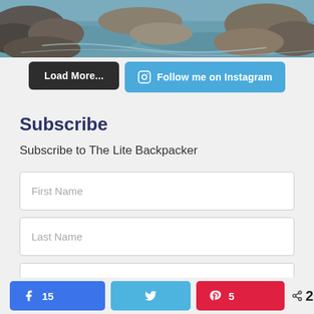[Figure (photo): Rocks and water — nature/outdoor scene at top of page]
Load More...
Follow me on Instagram
Subscribe
Subscribe to The Lite Backpacker
First Name
Last Name
Enter your email
15  [share on Facebook]  [share on Twitter]  5 [share on Pinterest]  < 20 SHARES